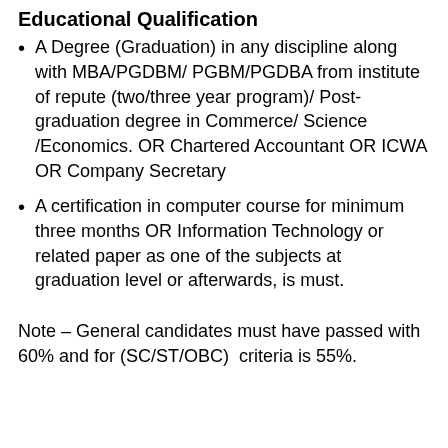Educational Qualification
A Degree (Graduation) in any discipline along with MBA/PGDBM/ PGBM/PGDBA from institute of repute (two/three year program)/ Post-graduation degree in Commerce/ Science /Economics. OR Chartered Accountant OR ICWA OR Company Secretary
A certification in computer course for minimum three months OR Information Technology or related paper as one of the subjects at graduation level or afterwards, is must.
Note – General candidates must have passed with 60% and for (SC/ST/OBC)  criteria is 55%.